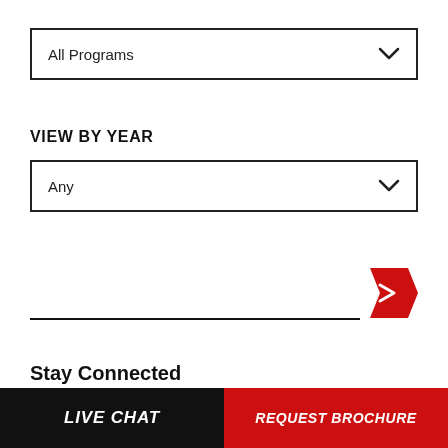[Figure (screenshot): Dropdown selector labeled 'All Programs' with chevron icon]
VIEW BY YEAR
[Figure (screenshot): Dropdown selector labeled 'Any' with chevron icon]
[Figure (screenshot): Search input field with red arrow/chevron submit button]
Stay Connected
LIVE CHAT | REQUEST BROCHURE